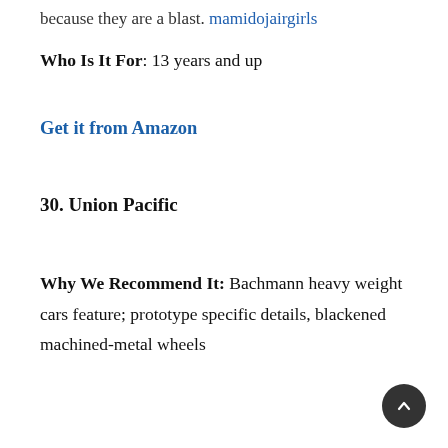because they are a blast. mamidojairgirls
Who Is It For: 13 years and up
Get it from Amazon
30. Union Pacific
Why We Recommend It: Bachmann heavy weight cars feature; prototype specific details, blackened machined-metal wheels